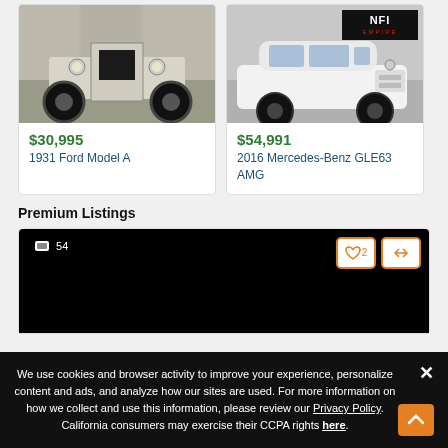[Figure (photo): Front view of a 1931 Ford Model A hot rod in a parking lot]
$30,995
1931 Ford Model A
[Figure (photo): White 2016 Mercedes-Benz GLE63 AMG SUV at NFI Empire dealership]
$54,991
2016 Mercedes-Benz GLE63 AMG
Premium Listings
[Figure (photo): Dark vehicle listing image with 54 photos indicator, 2 hearts, and compare button]
We use cookies and browser activity to improve your experience, personalize content and ads, and analyze how our sites are used. For more information on how we collect and use this information, please review our Privacy Policy. California consumers may exercise their CCPA rights here.